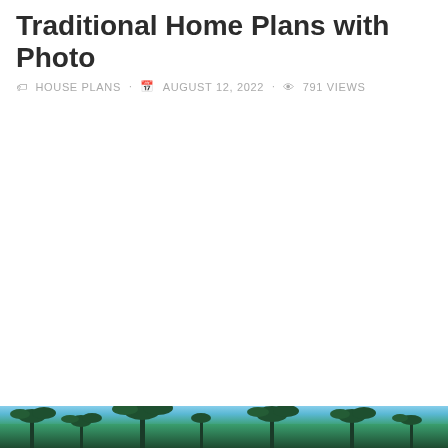Traditional Home Plans with Photo
HOUSE PLANS · AUGUST 12, 2022 · 791 Views
[Figure (photo): Bottom strip of a photo showing tropical scenery with palm trees and blue sky, partially visible at the bottom of the page.]